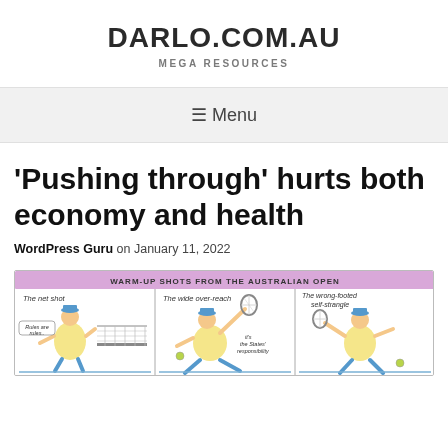DARLO.COM.AU
MEGA RESOURCES
☰ Menu
'Pushing through' hurts both economy and health
WordPress Guru on January 11, 2022
[Figure (illustration): A cartoon titled 'WARM-UP SHOTS FROM THE AUSTRALIAN OPEN' showing three panels: 'The net shot' with a figure saying 'Rules are rules..', 'The wide over-reach' with a figure stretching with a tennis racket and caption 'it's the States responsibility', and 'The wrong-footed self-strangle' with a figure holding a racket.]